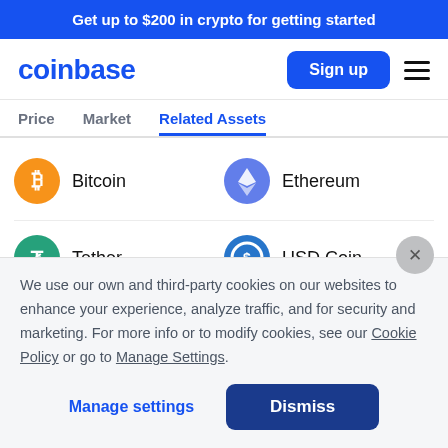Get up to $200 in crypto for getting started
[Figure (logo): Coinbase logo in blue text]
Sign up
Price   Market   Related Assets
Bitcoin
Ethereum
Tether
USD Coin
We use our own and third-party cookies on our websites to enhance your experience, analyze traffic, and for security and marketing. For more info or to modify cookies, see our Cookie Policy or go to Manage Settings.
Manage settings
Dismiss